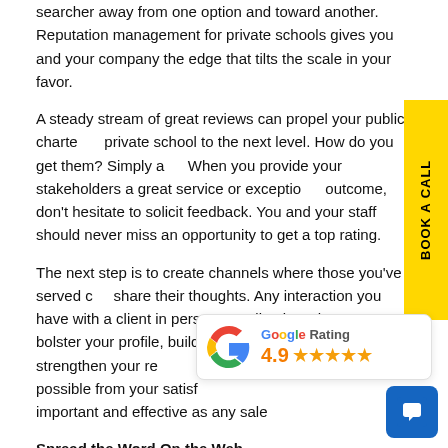searcher away from one option and toward another. Reputation management for private schools gives you and your company the edge that tilts the scale in your favor.
A steady stream of great reviews can propel your public, charter, or private school to the next level. How do you get them? Simply ask. When you provide your stakeholders a great service or exceptional outcome, don't hesitate to solicit feedback. You and your staff should never miss an opportunity to get a top rating.
The next step is to create channels where those you've served can share their thoughts. Any interaction you have with a client in person or online is a chance to bolster your profile, build brand awareness and strengthen your reputation. Seek out reviews wherever possible from your satisfied customers. They're just as important and effective as any sales pitch.
[Figure (infographic): Google Rating widget showing 4.9 stars out of 5, with colored Google G logo and star icons]
Spread the Word On the Web